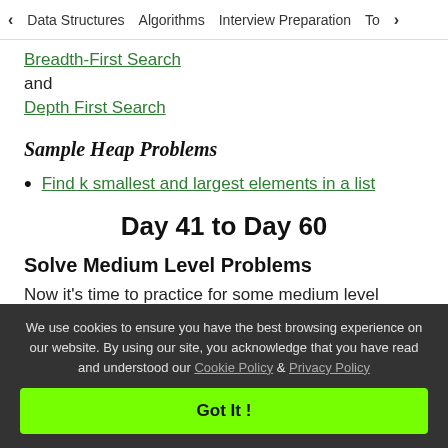< Data Structures   Algorithms   Interview Preparation   Top>
Breadth-First Search
and
Depth First Search
Sample Heap Problems
Find k smallest and largest elements in a list
Day 41 to Day 60
Solve Medium Level Problems
Now it's time to practice for some medium level
We use cookies to ensure you have the best browsing experience on our website. By using our site, you acknowledge that you have read and understood our Cookie Policy & Privacy Policy
Got It !